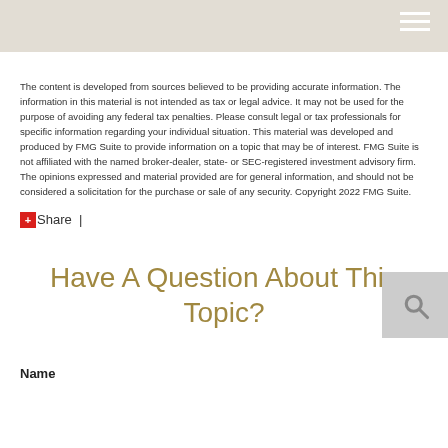The content is developed from sources believed to be providing accurate information. The information in this material is not intended as tax or legal advice. It may not be used for the purpose of avoiding any federal tax penalties. Please consult legal or tax professionals for specific information regarding your individual situation. This material was developed and produced by FMG Suite to provide information on a topic that may be of interest. FMG Suite is not affiliated with the named broker-dealer, state- or SEC-registered investment advisory firm. The opinions expressed and material provided are for general information, and should not be considered a solicitation for the purchase or sale of any security. Copyright 2022 FMG Suite.
+Share |
Have A Question About This Topic?
Name